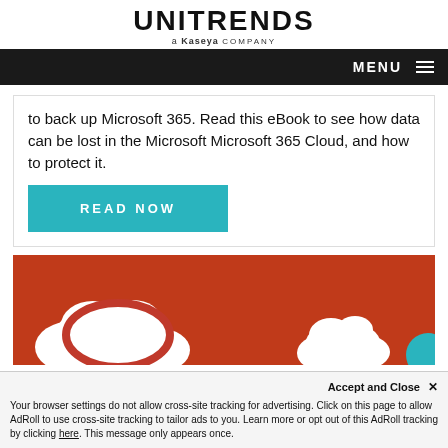UNITRENDS a Kaseya company
to back up Microsoft 365. Read this eBook to see how data can be lost in the Microsoft Microsoft 365 Cloud, and how to protect it.
READ NOW
[Figure (illustration): Orange/red background with white cloud shapes resembling Microsoft 365 / OneDrive logos, and a teal circle partially visible at bottom right.]
Accept and Close ✕
Your browser settings do not allow cross-site tracking for advertising. Click on this page to allow AdRoll to use cross-site tracking to tailor ads to you. Learn more or opt out of this AdRoll tracking by clicking here. This message only appears once.